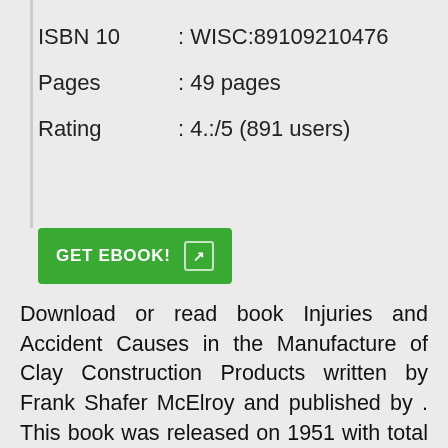ISBN 10 : WISC:89109210476
Pages : 49 pages
Rating : 4.:/5 (891 users)
[Figure (other): Green GET EBOOK! button with arrow icon]
Download or read book Injuries and Accident Causes in the Manufacture of Clay Construction Products written by Frank Shafer McElroy and published by . This book was released on 1951 with total page 49 pages. Available in PDF, EPUB and Kin Book excerpt: